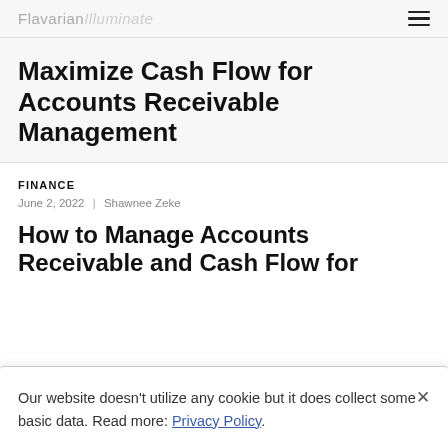Flavarian Illuminate
Maximize Cash Flow for Accounts Receivable Management
FINANCE
June 2, 2022 | Shawnee Zeke
How to Manage Accounts Receivable and Cash Flow for
Our website doesn't utilize any cookie but it does collect some basic data. Read more: Privacy Policy.